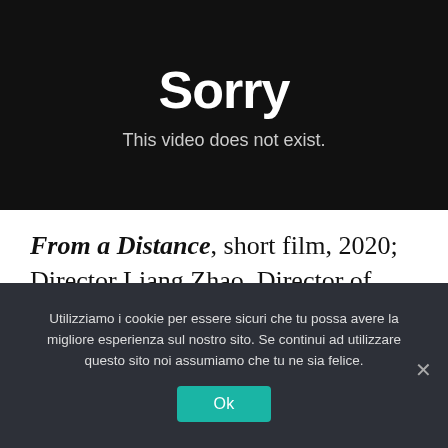[Figure (screenshot): Video player error screen with black background showing 'Sorry' in large white bold text and 'This video does not exist.' in lighter text below]
From a Distance, short film, 2020; Director Liang Zhao, Director of Photography, Vittoria Campaner
Utilizziamo i cookie per essere sicuri che tu possa avere la migliore esperienza sul nostro sito. Se continui ad utilizzare questo sito noi assumiamo che tu ne sia felice.
Ok